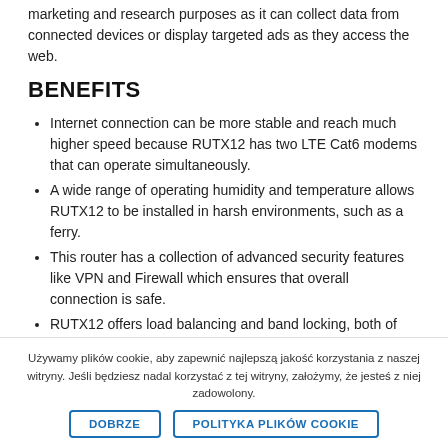marketing and research purposes as it can collect data from connected devices or display targeted ads as they access the web.
BENEFITS
Internet connection can be more stable and reach much higher speed because RUTX12 has two LTE Cat6 modems that can operate simultaneously.
A wide range of operating humidity and temperature allows RUTX12 to be installed in harsh environments, such as a ferry.
This router has a collection of advanced security features like VPN and Firewall which ensures that overall connection is safe.
RUTX12 offers load balancing and band locking, both of these features provide greater control over data usage.
Używamy plików cookie, aby zapewnić najlepszą jakość korzystania z naszej witryny. Jeśli będziesz nadal korzystać z tej witryny, założymy, że jesteś z niej zadowolony.
DOBRZE | POLITYKA PLIKÓW COOKIE